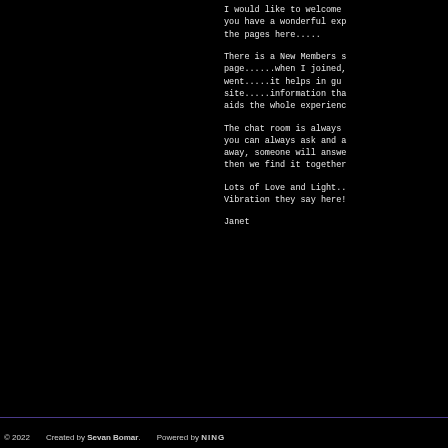I would like to welcome you have a wonderful exp the pages here.....
There is a New Members s page......when I joined, went.....it helps in gu site.....information tha aids the whole experienc
The chat room is always you can always ask and a away, someone will answe then we find it together
Lots of Love and Light.. Vibration they say here!
Janet
© 2022    Created by Sevan Bomar.    Powered by NING